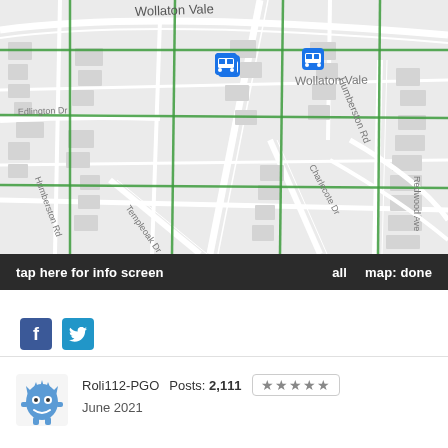[Figure (map): Street map showing Wollaton Vale area with green grid overlay. Streets visible: Wollaton Vale, Humberston Rd, Edlington Dr, Templeoak Dr, Charlecote Dr, Redwood Ave, Humberston Rd. Two blue bus stop icons visible near Wollaton Vale. Buildings shown as grey blocks. Bottom toolbar reads: tap here for info screen | all | map: done]
tap here for info screen    all    map: done
f  (Facebook icon)  (Twitter icon)
Roli112-PGO   Posts: 2,111   ★★★★★   June 2021